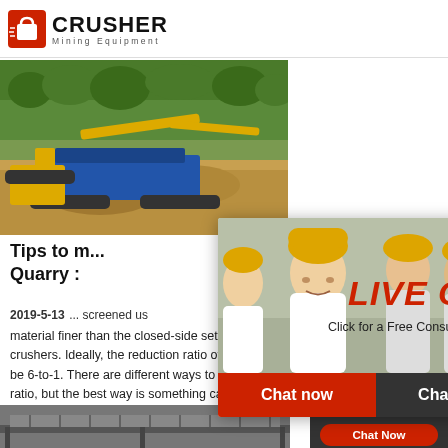[Figure (logo): Crusher Mining Equipment logo with red shopping bag icon and bold text]
[Figure (photo): Mining crusher machine operating at a quarry site, with trees in background]
[Figure (photo): Live Chat popup overlay with workers in hard hats, LIVE CHAT text in red, Chat now and Chat later buttons]
Tips to m... Quarry :
2019-5-13 ... screened us... material finer than the closed-side setting. Sett... crushers. Ideally, the reduction ratio of a jaw cru... be 6-to-1. There are different ways to calculate... ratio, but the best way is something called the R...
Read More
[Figure (photo): Industrial machinery/conveyor at bottom of page]
[Figure (infographic): Right sidebar: 24Hrs Online banner, customer service woman with headset, Need questions & suggestion, Chat Now button, Enquiry link, limingjlmofen@sina.com email]